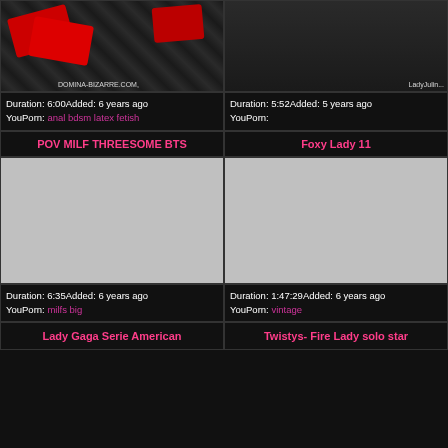[Figure (photo): Top-left video thumbnail showing red high heels and fetish items with watermark 'DOMINA-BIZARRE.COM']
Duration: 6:00Added: 6 years ago
YouPorn: anal bdsm latex fetish
[Figure (photo): Top-right video thumbnail showing a woman in black lace with watermark 'LadyJulin...']
Duration: 5:52Added: 5 years ago
YouPorn:
POV MILF THREESOME BTS
Foxy Lady 11
[Figure (photo): Mid-left video thumbnail placeholder (gray)]
[Figure (photo): Mid-right video thumbnail placeholder (gray)]
Duration: 6:35Added: 6 years ago
YouPorn: milfs big
Duration: 1:47:29Added: 6 years ago
YouPorn: vintage
Lady Gaga Serie American
Twistys- Fire Lady solo star